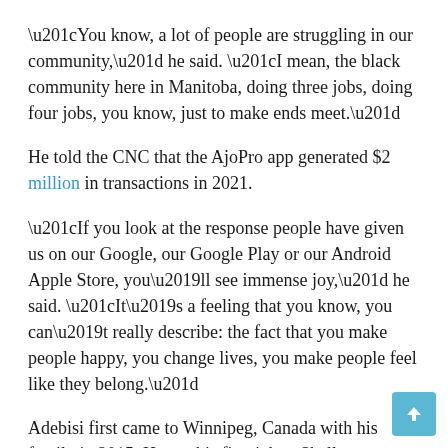“You know, a lot of people are struggling in our community,” he said. “I mean, the black community here in Manitoba, doing three jobs, doing four jobs, you know, just to make ends meet.”
He told the CNC that the AjoPro app generated $2 million in transactions in 2021.
“If you look at the response people have given us on our Google, our Google Play or our Android Apple Store, you’ll see immense joy,” he said. “It’s a feeling that you know, you can’t really describe: the fact that you make people happy, you change lives, you make people feel like they belong.”
Adebisi first came to Winnipeg, Canada with his family in 2015. He got his first job at Shell Communications. Among other things, his duty was to take calls. And according to him, he usually spent about eight hours answering phone calls.
“I’ve never in my life had to talk to people for eight hours. You